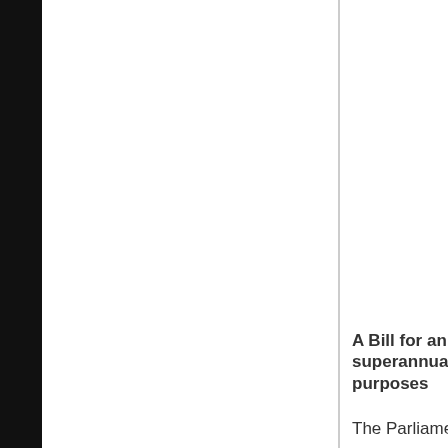A Bill for an superannuat purposes
The Parliame